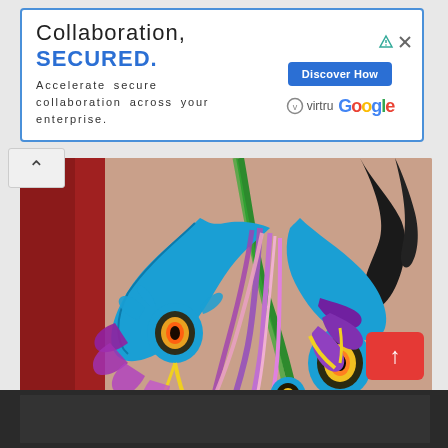[Figure (other): Advertisement banner: 'Collaboration, SECURED.' with subtext 'Accelerate secure collaboration across your enterprise.' with Discover How button, Virtru and Google logos.]
[Figure (photo): Close-up photo of a colorful peacock feather tattoo on skin, featuring vibrant blue, purple, pink, green and yellow feathers with eye-spot designs on a red background.]
[Figure (photo): Partial view of another image at the bottom of the page, dark/black background visible.]